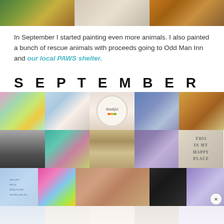[Figure (photo): Three horizontal landscape paintings shown side by side at the top of the page]
In September I started painting even more animals. I also painted a bunch of rescue animals with proceeds going to Odd Man Inn and our local PAWS shelter.
SEPTEMBER
[Figure (photo): Grid collage of September artwork including colorful animal paintings, abstract works, a thankful plate, bison, cows, a bigfoot/gorilla, deer, and decorative pieces. Three rows of five images each, with partial fourth row visible at bottom.]